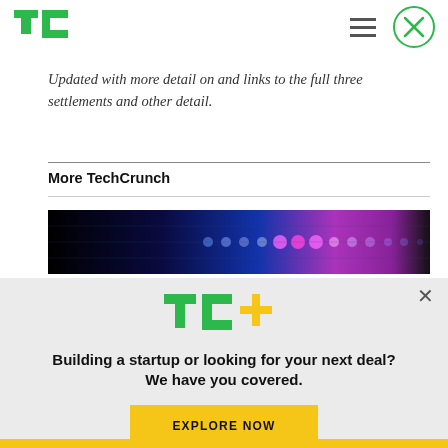TechCrunch logo, hamburger menu, and close button
Updated with more detail on and links to the full three settlements and other detail.
More TechCrunch
[Figure (photo): Dark blue/purple abstract technology background with glowing dots and particle lights]
[Figure (infographic): TC+ promotional popup overlay with logo, heading text, and explore button]
Building a startup or looking for your next deal? We have you covered.
EXPLORE NOW